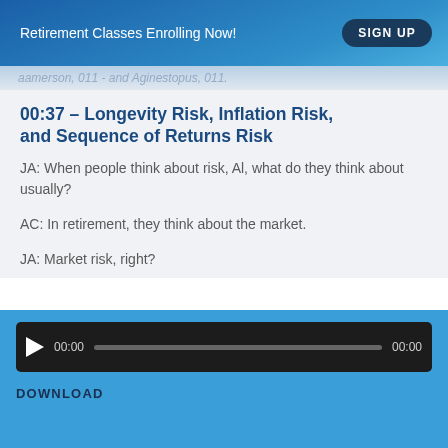Retirement Classes Enrolling Now!   SIGN UP
(partially visible faded text line)
00:37 – Longevity Risk, Inflation Risk, and Sequence of Returns Risk
JA: When people think about risk, Al, what do they think about usually?
AC: In retirement, they think about the market.
JA: Market risk, right?
[Figure (other): Audio player with play button, time display 00:00, progress bar, and end time 00:00]
DOWNLOAD